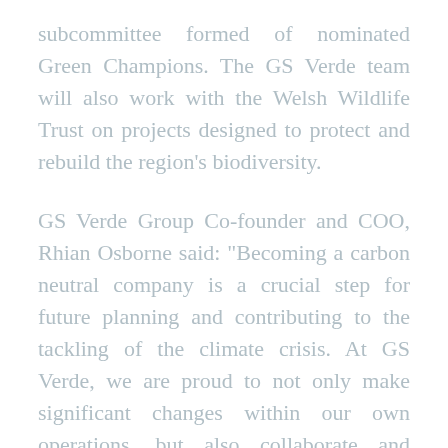subcommittee formed of nominated Green Champions. The GS Verde team will also work with the Welsh Wildlife Trust on projects designed to protect and rebuild the region's biodiversity.
GS Verde Group Co-founder and COO, Rhian Osborne said: "Becoming a carbon neutral company is a crucial step for future planning and contributing to the tackling of the climate crisis. At GS Verde, we are proud to not only make significant changes within our own operations, but also collaborate and encourage change on a wider scale amongst those we work with."